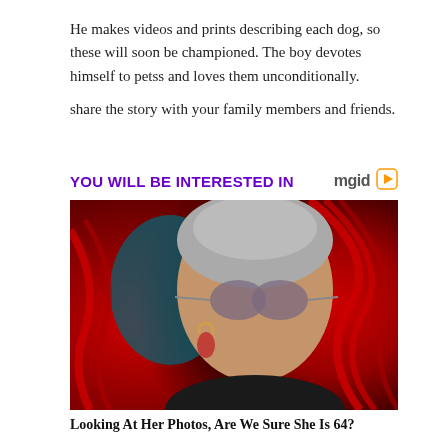He makes videos and prints describing each dog, so these will soon be championed. The boy devotes himself to petss and loves them unconditionally.
share the story with your family members and friends.
YOU WILL BE INTERESTED IN
[Figure (photo): Woman with grey hair pulled back, wearing round sunglasses and hoop earrings, in front of a red swirling background with a teal blue face outline behind her]
Looking At Her Photos, Are We Sure She Is 64?